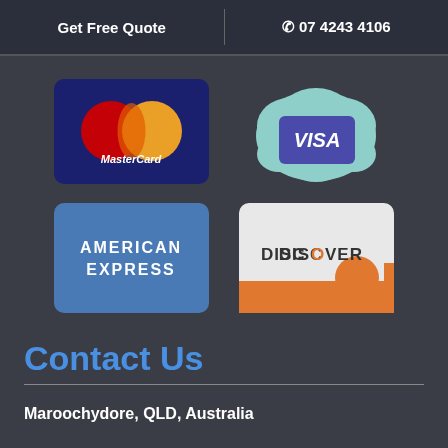Get Free Quote    07 2243 4106
[Figure (logo): MasterCard logo with overlapping red and yellow circles on dark blue card]
[Figure (logo): Visa logo on a cloud-shaped illustration with teal/mint background]
[Figure (logo): American Express card logo, blue card with AMERICAN EXPRESS text in white]
[Figure (logo): Discover card logo on light grey card with orange accent stripe]
Contact Us
Maroochydore, QLD, Australia